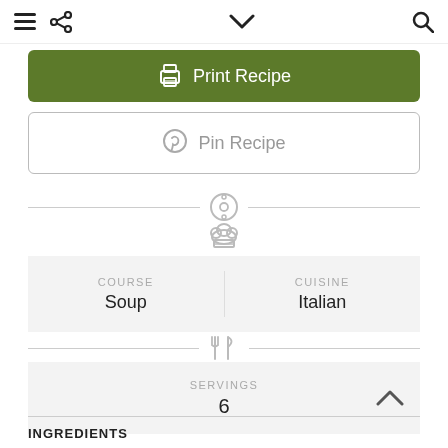☰  ≤  ∨  Q
🖨 Print Recipe
𝒫 Pin Recipe
COURSE: Soup | CUISINE: Italian
SERVINGS: 6
INGREDIENTS